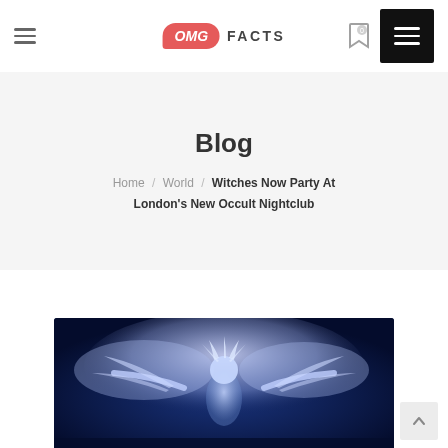OMG FACTS
Blog
Home / World / Witches Now Party At London's New Occult Nightclub
[Figure (photo): A performer with arms outstretched surrounded by dramatic white smoke/feathers against a dark blue background, appearing at a nightclub or theatrical event.]